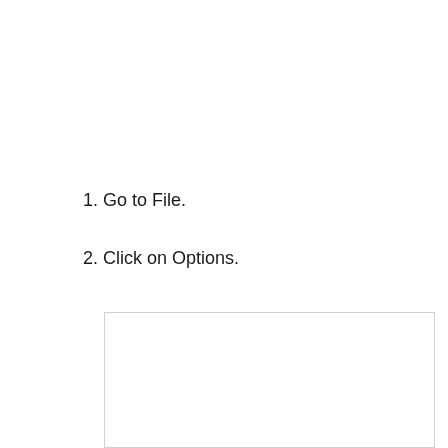1. Go to File.
2. Click on Options.
[Figure (screenshot): A partially visible screenshot of a dialog box or options window, mostly empty/white with a light gray border, cropped at the bottom of the page.]